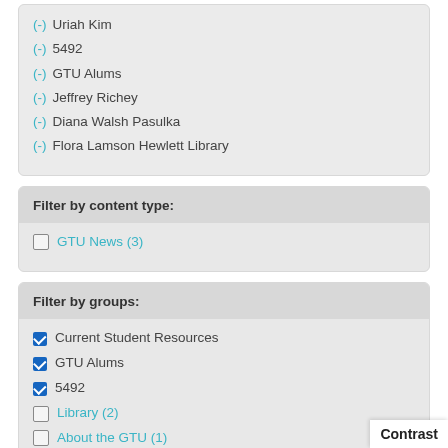(-) Uriah Kim
(-) 5492
(-) GTU Alums
(-) Jeffrey Richey
(-) Diana Walsh Pasulka
(-) Flora Lamson Hewlett Library
Filter by content type:
GTU News (3)
Filter by groups:
Current Student Resources
GTU Alums
5492
Library (2)
About the GTU (1)
Contrast